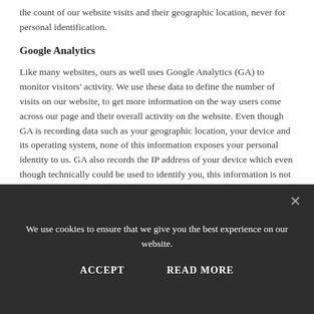the count of our website visits and their geographic location, never for personal identification.
Google Analytics
Like many websites, ours as well uses Google Analytics (GA) to monitor visitors' activity. We use these data to define the number of visits on our website, to get more information on the way users come across our page and their overall activity on the website. Even though GA is recording data such as your geographic location, your device and its operating system, none of this information exposes your personal identity to us. GA also records the IP address of your device which even though technically could be used to identify you, this information is not shared with us. We consider Google as a third carrier of data processing.
GA uses cookies of which you can be informed through Google's programming drivers. For your information, our website uses the GA application analytics.js.
We use cookies to ensure that we give you the best experience on our website.
ACCEPT
READ MORE